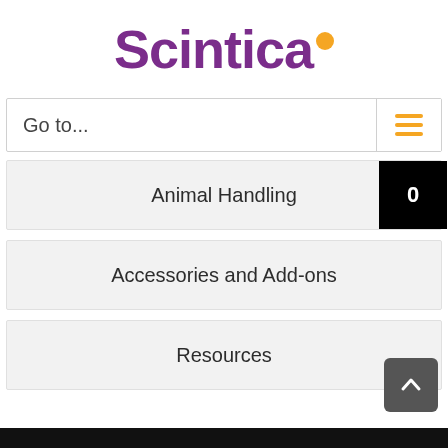[Figure (logo): Scintica logo with purple text and orange dot]
Go to...
Animal Handling
Accessories and Add-ons
Resources